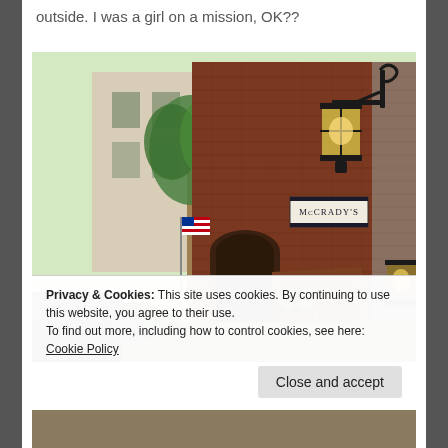outside. I was a girl on a mission, OK??
[Figure (photo): Exterior of McCrady's restaurant building — red brick facade, ornate black iron bracket holding a gas lantern, McCrady's sign, palm trees, arched entryway with brown awning, American flag, another lantern visible on right side.]
Privacy & Cookies: This site uses cookies. By continuing to use this website, you agree to their use.
To find out more, including how to control cookies, see here: Cookie Policy
Close and accept